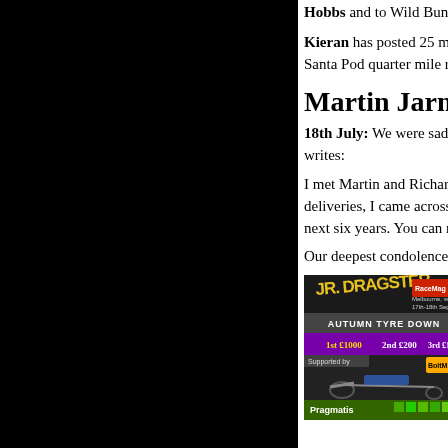Hobbs and to Wild Bunch racer Steve Heaven from dad Ru
Kieran has posted 25 minutes of footage from the Ford Sho here. In it are runs from the Modified 100e Challenge, drag Santa Pod quarter mile rapidly. Don't forget to subscribe to M
Martin Jarman.
18th July: We were saddened to learn from John Hunt that 80s dragster racer Martin Jarman passed away on 6th July. writes:
I met Martin and Richard Jarman in 1975, Martin lived only minute walk from me and, while helping the local milkman deliveries, I came across their dragster Strip Star on the trail outside Martin's house in Guildford. I would crew with them next six years. You can read the drag racing story of the Jarm Brothers as part of our Pioneer stories at this link.
Our deepest condolences go to Martin's family and friends.
[Figure (photo): Jr. Dragster Autumn Tyre Down advertisement showing a dragster car with prize money 1st £1000 2nd £200 3rd £100, supported by Pragmatis, Melbourne venue 17th-18th Sept.]
Pragmatis leads Me
18th July: Thanks to Victor Pragmatis Limited for sendin Raceway:
"The event taking place at M Street Legal Shootout, will h The Irish Junior Dragste Tea